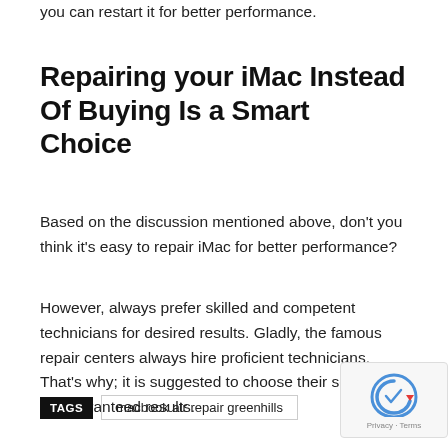Precisely, if you observe that your iMac is getting slow, then you can restart it for better performance.
Repairing your iMac Instead Of Buying Is a Smart Choice
Based on the discussion mentioned above, don't you think it's easy to repair iMac for better performance?
However, always prefer skilled and competent technicians for desired results. Gladly, the famous repair centers always hire proficient technicians. That's why; it is suggested to choose their services for guaranteed results.
TAGS   macbook air repair greenhills
[Figure (logo): reCAPTCHA badge with Privacy and Terms links]